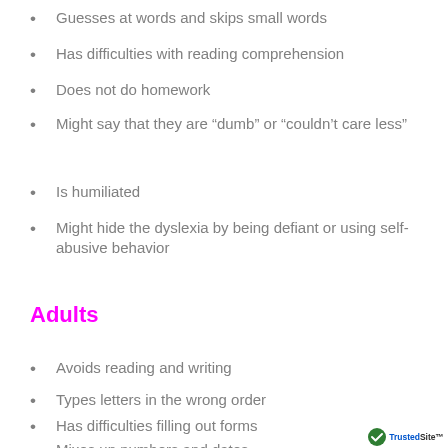Guesses at words and skips small words
Has difficulties with reading comprehension
Does not do homework
Might say that they are “dumb” or “couldn’t care less”
Is humiliated
Might hide the dyslexia by being defiant or using self-abusive behavior
Adults
Avoids reading and writing
Types letters in the wrong order
Has difficulties filling out forms
Mixes up numbers and dates